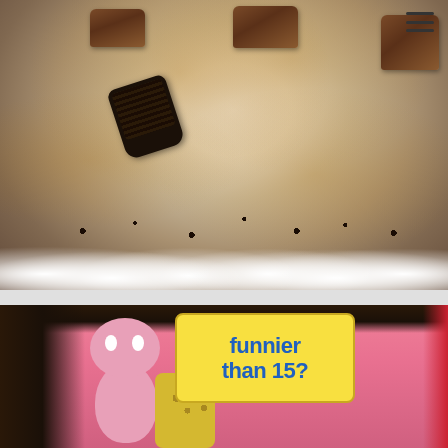[Figure (photo): Close-up overhead photo of a decorated cake or pie topped with Oreo cookies, Reese's peanut butter cups, whipped cream rosettes around the border, caramel drizzle, and Oreo crumbles. A hamburger menu icon appears in the top-right corner.]
[Figure (photo): Photo of a pink-themed cake or dessert display featuring Patrick Star and SpongeBob SquarePants cartoon figures/toppers, with a yellow sign reading 'funnier than 15?' in blue text. Dark chocolate drip visible at top edge.]